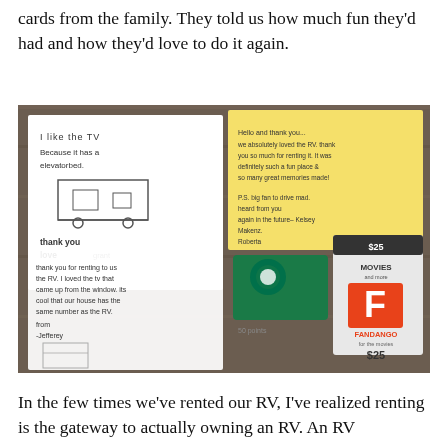cards from the family. They told us how much fun they'd had and how they'd love to do it again.
[Figure (photo): Photo of handwritten thank-you cards, children's drawings of an RV with an elevator bed, a handwritten note on yellow paper, a Starbucks gift card, and a Fandango $25 gift card laid out on a wooden table.]
In the few times we've rented our RV, I've realized renting is the gateway to actually owning an RV. An RV